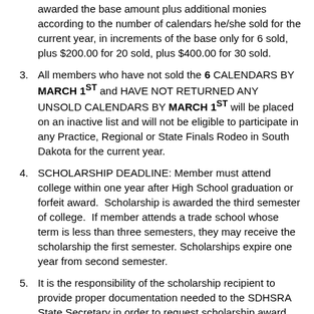awarded the base amount plus additional monies according to the number of calendars he/she sold for the current year, in increments of the base only for 6 sold, plus $200.00 for 20 sold, plus $400.00 for 30 sold.
All members who have not sold the 6 CALENDARS BY MARCH 1ST and HAVE NOT RETURNED ANY UNSOLD CALENDARS BY MARCH 1ST will be placed on an inactive list and will not be eligible to participate in any Practice, Regional or State Finals Rodeo in South Dakota for the current year.
SCHOLARSHIP DEADLINE: Member must attend college within one year after High School graduation or forfeit award. Scholarship is awarded the third semester of college. If member attends a trade school whose term is less than three semesters, they may receive the scholarship the first semester. Scholarships expire one year from second semester.
It is the responsibility of the scholarship recipient to provide proper documentation needed to the SDHSRA State Secretary in order to request scholarship award